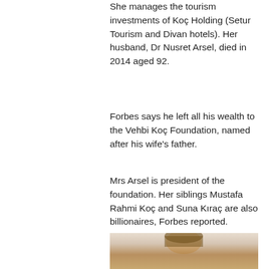She manages the tourism investments of Koç Holding (Setur Tourism and Divan hotels). Her husband, Dr Nusret Arsel, died in 2014 aged 92.
Forbes says he left all his wealth to the Vehbi Koç Foundation, named after his wife's father.
Mrs Arsel is president of the foundation. Her siblings Mustafa Rahmi Koç and Suna Kıraç are also billionaires, Forbes reported.
Another Turkish citizen on the list is Melih Abdulhayoğlu, worth $1.8 billion, whose road to riches started with a £5,000 patent prize from the British government in 1989.
[Figure (photo): Portrait photo of a person, showing head and upper shoulders, with light background.]